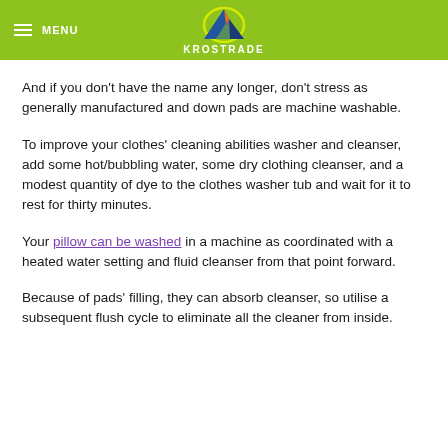MENU | KROSTRADE
And if you don't have the name any longer, don't stress as generally manufactured and down pads are machine washable.
To improve your clothes' cleaning abilities washer and cleanser, add some hot/bubbling water, some dry clothing cleanser, and a modest quantity of dye to the clothes washer tub and wait for it to rest for thirty minutes.
Your pillow can be washed in a machine as coordinated with a heated water setting and fluid cleanser from that point forward.
Because of pads' filling, they can absorb cleanser, so utilise a subsequent flush cycle to eliminate all the cleaner from inside.